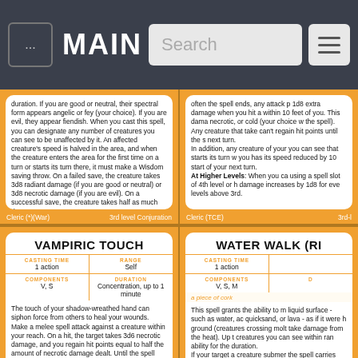... MAIN Search ≡
duration. If you are good or neutral, their spectral form appears angelic or fey (your choice). If you are evil, they appear fiendish. When you cast this spell, you can designate any number of creatures you can see to be unaffected by it. An affected creature's speed is halved in the area, and when the creature enters the area for the first time on a turn or starts its turn there, it must make a Wisdom saving throw. On a failed save, the creature takes 3d8 radiant damage (if you are good or neutral) or 3d8 necrotic damage (if you are evil). On a successful save, the creature takes half as much damage.
At Higher Levels: When you cast this spell using a spell slot of 4th level or higher, the damage increases by 1d8 for each slot level above 3rd.
Cleric (*)(War)   3rd level Conjuration
often the spell ends, any attack p 1d8 extra damage when you hit a within 10 feet of you. This dama necrotic, or cold (your choice w the spell). Any creature that take can't regain hit points until the s next turn.
In addition, any creature of your you can see that starts its turn w you has its speed reduced by 10 start of your next turn.
At Higher Levels: When you ca using a spell slot of 4th level or h damage increases by 1d8 for eve levels above 3rd.
Cleric (TCE)   3rd-l
VAMPIRIC TOUCH
CASTING TIME
1 action
RANGE
Self
COMPONENTS
V, S
DURATION
Concentration, up to 1 minute
The touch of your shadow-wreathed hand can siphon force from others to heal your wounds. Make a melee spell attack against a creature within your reach. On a hit, the target takes 3d6 necrotic damage, and you regain hit points equal to half the amount of necrotic damage dealt. Until the spell ends, you can make the attack again on each of your turns as an action.
At Higher Levels: When you cast this spell
WATER WALK (RI
CASTING TIME
1 action
COMPONENTS
V, S, M
a piece of cork
This spell grants the ability to m liquid surface - such as water, ac quicksand, or lava - as if it were h ground (creatures crossing molt take damage from the heat). Up t creatures you can see within ran ability for the duration.
If your target a creature submer the spell carries the target to th